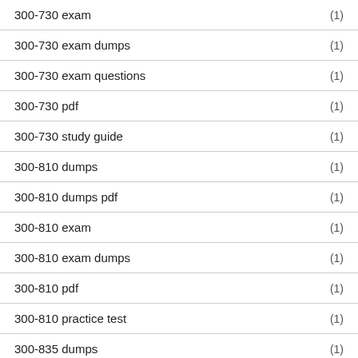300-730 exam (1)
300-730 exam dumps (1)
300-730 exam questions (1)
300-730 pdf (1)
300-730 study guide (1)
300-810 dumps (1)
300-810 dumps pdf (1)
300-810 exam (1)
300-810 exam dumps (1)
300-810 pdf (1)
300-810 practice test (1)
300-835 dumps (1)